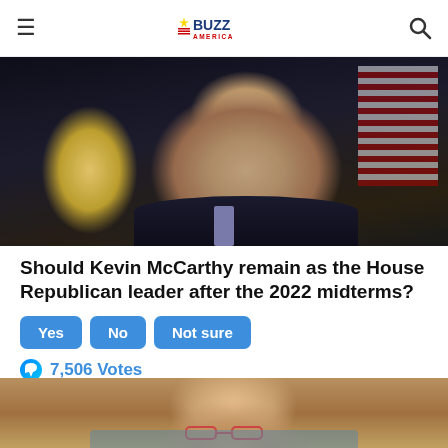BUZZ AMERICA
[Figure (photo): Close-up photo of Kevin McCarthy speaking at a press conference, wearing a dark suit and purple tie, with American flags in the background]
Should Kevin McCarthy remain as the House Republican leader after the 2022 midterms?
Yes  No  Not sure
7,506 Votes
[Figure (photo): Close-up photo of Chuck Schumer wearing glasses and a face mask, inside what appears to be the Capitol building]